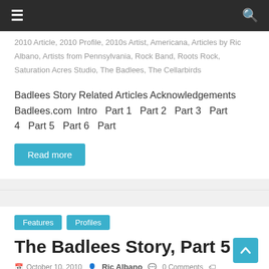Navigation bar with menu and search icons
2010 Article, 2010 Profile, 2010s Artist, Americana, Articles by Ric Albano, Artists from Pennsylvania, Rock Band, Roots Rock, Saturation Acres Studio, The Badlees, The Cellarbirds
Badlees Story Related Articles Acknowledgements Badlees.com Intro Part 1 Part 2 Part 3 Part 4 Part 5 Part 6 Part
Read more
Features  Profiles
The Badlees Story, Part 5
October 10, 2010  Ric Albano  0 Comments  2000s Artist, 2010 Article, 2010 Profile, 2010s Artist, Americana, Articles by Ric Albano, Artists from Pennsylvania, Rock Band, Roots Rock,